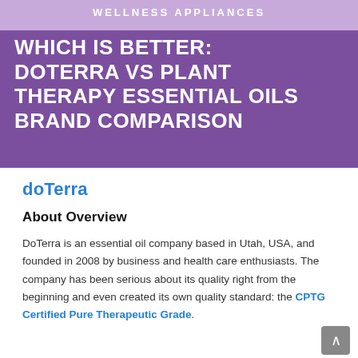[Figure (infographic): Infographic header image with purple background. Top banner reads 'WELLNESS APPLIANCES'. Large white bold text reads 'WHICH IS BETTER: DOTERRA VS PLANT THERAPY ESSENTIAL OILS BRAND COMPARISON']
doTerra
About Overview
DoTerra is an essential oil company based in Utah, USA, and founded in 2008 by business and health care enthusiasts. The company has been serious about its quality right from the beginning and even created its own quality standard: the CPTG Certified Pure Therapeutic Grade.